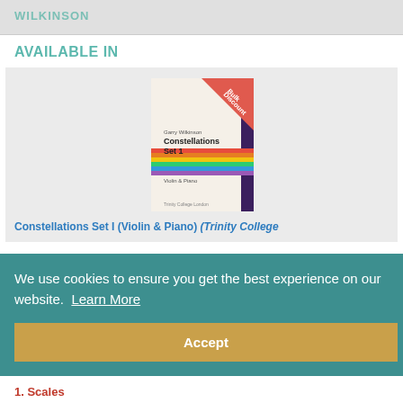WILKINSON
AVAILABLE IN
[Figure (illustration): Book cover for 'Constellations Set 1, Violin & Piano' by Garry Wilkinson, published by Trinity College London, with colorful horizontal stripes and a Bulk Discount ribbon in the top right corner.]
Constellations Set I (Violin & Piano) (Trinity College
We use cookies to ensure you get the best experience on our website.  Learn More
Accept
1. Scales